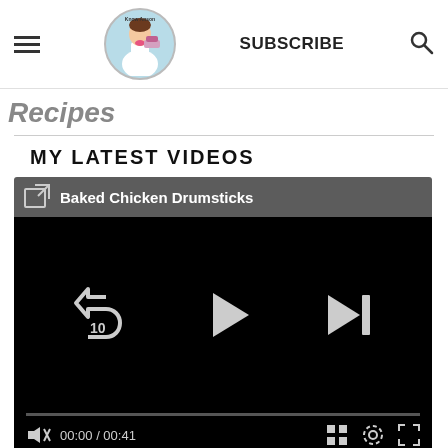SUBSCRIBE
Recipes
MY LATEST VIDEOS
[Figure (screenshot): Video player showing 'Baked Chicken Drumsticks' with playback controls, time 00:00 / 00:41, muted, with grid, settings, and fullscreen icons.]